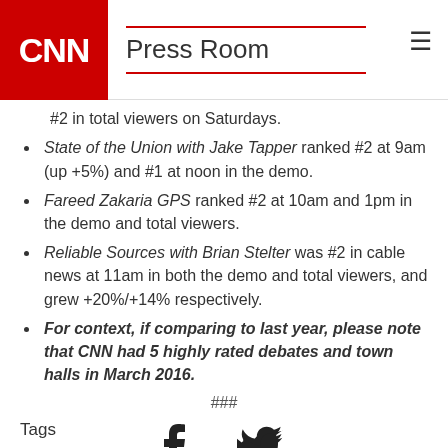Press Room
#2 in total viewers on Saturdays.
State of the Union with Jake Tapper ranked #2 at 9am (up +5%) and #1 at noon in the demo.
Fareed Zakaria GPS ranked #2 at 10am and 1pm in the demo and total viewers.
Reliable Sources with Brian Stelter was #2 in cable news at 11am in both the demo and total viewers, and grew +20%/+14% respectively.
For context, if comparing to last year, please note that CNN had 5 highly rated debates and town halls in March 2016.
###
[Figure (illustration): Facebook and Twitter social share icons]
Tags